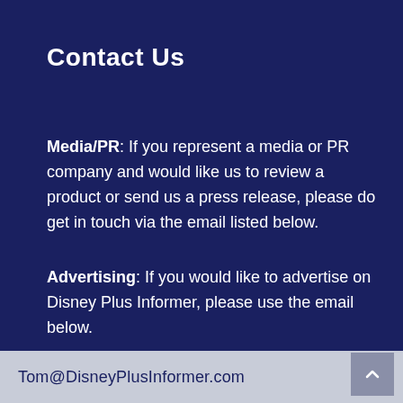Contact Us
Media/PR: If you represent a media or PR company and would like us to review a product or send us a press release, please do get in touch via the email listed below.
Advertising:  If you would like to advertise on Disney Plus Informer, please use the email below.
Tom@DisneyPlusInformer.com